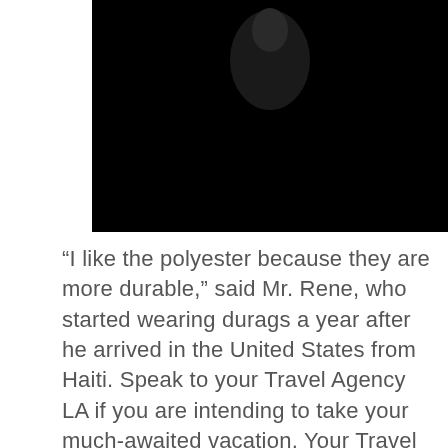[Figure (photo): Dark photograph, mostly black with a faint shape visible near the top center, cropped at the top of the page.]
“I like the polyester because they are more durable,” said Mr. Rene, who started wearing durags a year after he arrived in the United States from Haiti. Speak to your Travel Agency LA if you are intending to take your much-awaited vacation. Your Travel Agent LA will certainly take care of everything from the flight, lodging, tour, and other trip aspects needed to be looked after. Eldest son Kai, 11, rubbed his eyes and looked a little confused as he slowly sat up in bed while the song played out. One downfall of this cap is that it can come undone while you are sleeping. The vast range of design design wave cap available on the site are made from materials such as cotton and polyester microfiber. When you are looking to purchase a wave cap, it is important that the